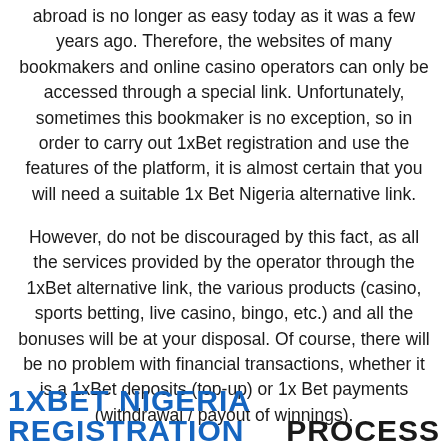abroad is no longer as easy today as it was a few years ago. Therefore, the websites of many bookmakers and online casino operators can only be accessed through a special link. Unfortunately, sometimes this bookmaker is no exception, so in order to carry out 1xBet registration and use the features of the platform, it is almost certain that you will need a suitable 1x Bet Nigeria alternative link.
However, do not be discouraged by this fact, as all the services provided by the operator through the 1xBet alternative link, the various products (casino, sports betting, live casino, bingo, etc.) and all the bonuses will be at your disposal. Of course, there will be no problem with financial transactions, whether it is a 1xBet deposits (top-up) or 1x Bet payments (withdrawal / payout of winnings).
[Figure (other): Red rounded button with white uppercase text '1XBET ALTERNATIVE LINK']
1XBET NIGERIA REGISTRATION PROCESS